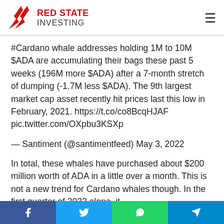Red State Investing
#Cardano whale addresses holding 1M to 10M $ADA are accumulating their bags these past 5 weeks (196M more $ADA) after a 7-month stretch of dumping (-1.7M less $ADA). The 9th largest market cap asset recently hit prices last this low in February, 2021. https://t.co/co8BcqHJAF pic.twitter.com/OXpbu3KSXp
— Santiment (@santimentfeed) May 3, 2022
In total, these whales have purchased about $200 million worth of ADA in a little over a month. This is not a new trend for Cardano whales though. In the first quarter of 2022 alone, it